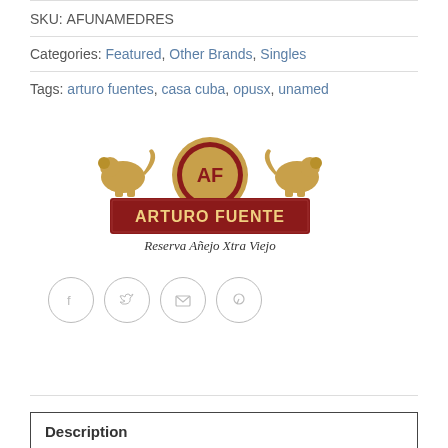SKU: AFUNAMEDRES
Categories: Featured, Other Brands, Singles
Tags: arturo fuentes, casa cuba, opusx, unamed
[Figure (logo): Arturo Fuente Reserva Añejo Xtra Viejo logo with heraldic lions and red banner]
[Figure (infographic): Social share icons: Facebook, Twitter, Email, Pinterest]
Description